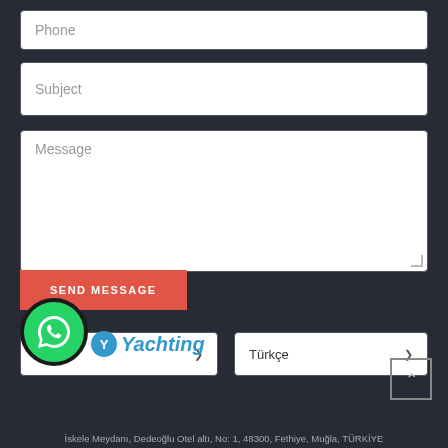Phone
Subject
Message
SEND MESSAGE
TL TRY
Türkçe
[Figure (logo): WhatsApp green circle icon with phone handset]
Yachting
İskele Meydanı, Dedeoğlu Otel altı, No: 1, 48300, Fethiye, Muğla, TÜRKİYE